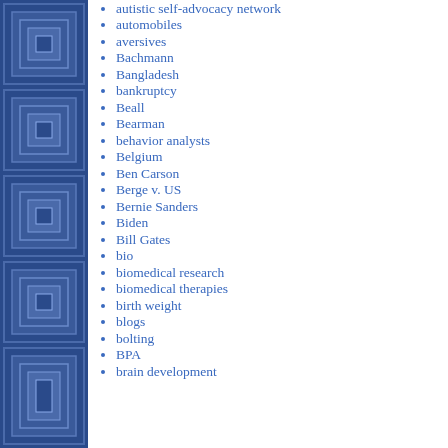[Figure (illustration): Blue decorative geometric pattern sidebar on the left side of the page, featuring nested squares and rectangles in shades of blue]
autistic self-advocacy network
automobiles
aversives
Bachmann
Bangladesh
bankruptcy
Beall
Bearman
behavior analysts
Belgium
Ben Carson
Berge v. US
Bernie Sanders
Biden
Bill Gates
bio
biomedical research
biomedical therapies
birth weight
blogs
bolting
BPA
brain development